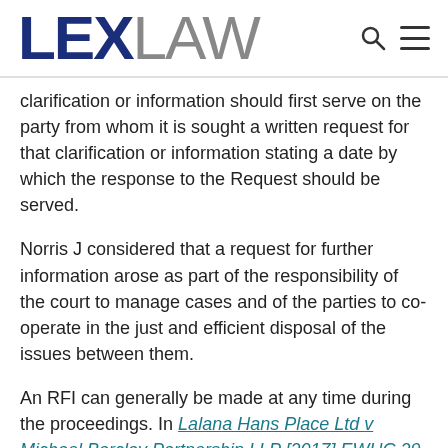LEXLAW
clarification or information should first serve on the party from whom it is sought a written request for that clarification or information stating a date by which the response to the Request should be served.
Norris J considered that a request for further information arose as part of the responsibility of the court to manage cases and of the parties to co-operate in the just and efficient disposal of the issues between them.
An RFI can generally be made at any time during the proceedings. In Lalana Hans Place Ltd v Michael Barclay Partnership LLP [2017] EWHC 29 (TCC), the